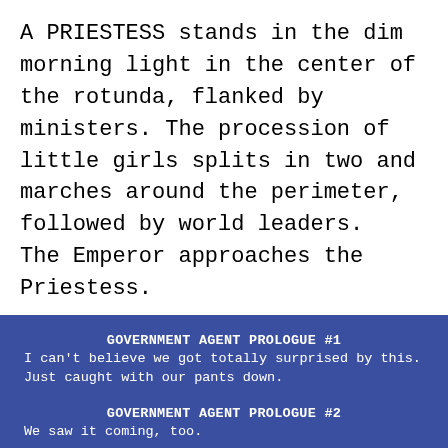A PRIESTESS stands in the dim morning light in the center of the rotunda, flanked by ministers. The procession of little girls splits in two and marches around the perimeter, followed by world leaders.
The Emperor approaches the Priestess.
GOVERNMENT AGENT PROLOGUE #1
I can't believe we got totally surprised by this. Just caught with our pants down.
GOVERNMENT AGENT PROLOGUE #2
We saw it coming, too.
GOVERNMENT AGENT PROLOGUE #1
And we still got suprised.